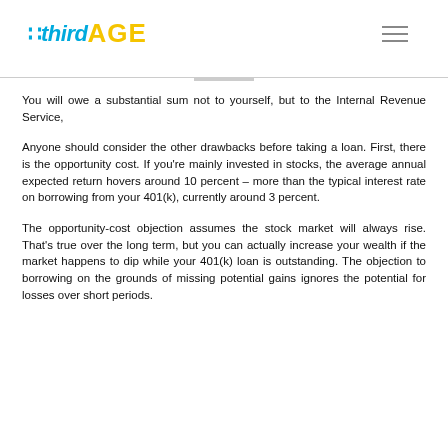thirdAGE
You will owe a substantial sum not to yourself, but to the Internal Revenue Service,
Anyone should consider the other drawbacks before taking a loan. First, there is the opportunity cost. If you're mainly invested in stocks, the average annual expected return hovers around 10 percent – more than the typical interest rate on borrowing from your 401(k), currently around 3 percent.
The opportunity-cost objection assumes the stock market will always rise. That's true over the long term, but you can actually increase your wealth if the market happens to dip while your 401(k) loan is outstanding. The objection to borrowing on the grounds of missing potential gains ignores the potential for losses over short periods.